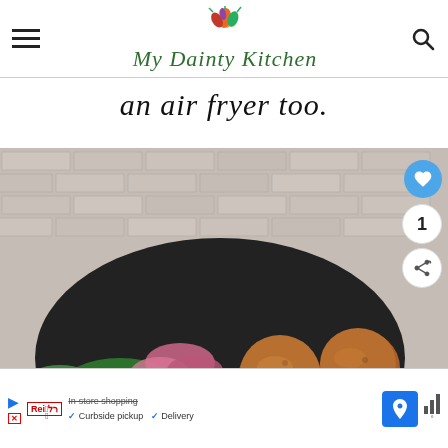My Dainty Kitchen
an air fryer too.
[Figure (photo): A dark bowl containing multiple golden-brown falafel balls garnished with sliced red onion, fresh herbs (cilantro/parsley), and lime wedges, against a white brick wall background. Social interaction buttons (heart, count 1, share) overlay the right side.]
WHAT'S NEXT → Air Fryer Falafel (Froz...
In-store shopping ✓ Curbside pickup ✓ Delivery